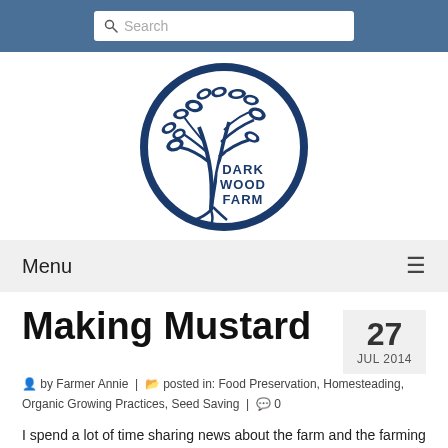Search
[Figure (logo): Dark Wood Farm circular logo with a tree illustration and text 'DARK WOOD FARM' in the center]
Menu
Making Mustard
27 JUL 2014
by Farmer Annie | posted in: Food Preservation, Homesteading, Organic Growing Practices, Seed Saving | 0
I spend a lot of time sharing news about the farm and the farming